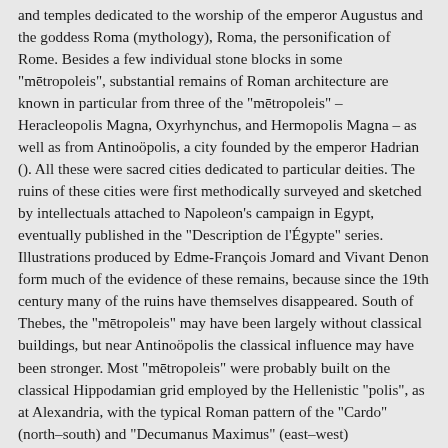and temples dedicated to the worship of the emperor Augustus and the goddess Roma (mythology), Roma, the personification of Rome. Besides a few individual stone blocks in some "mētropoleis", substantial remains of Roman architecture are known in particular from three of the "mētropoleis" – Heracleopolis Magna, Oxyrhynchus, and Hermopolis Magna – as well as from Antinoöpolis, a city founded by the emperor Hadrian (). All these were sacred cities dedicated to particular deities. The ruins of these cities were first methodically surveyed and sketched by intellectuals attached to Napoleon's campaign in Egypt, eventually published in the "Description de l'Égypte" series. Illustrations produced by Edme-François Jomard and Vivant Denon form much of the evidence of these remains, because since the 19th century many of the ruins have themselves disappeared. South of Thebes, the "mētropoleis" may have been largely without classical buildings, but near Antinoöpolis the classical influence may have been stronger. Most "mētropoleis" were probably built on the classical Hippodamian grid employed by the Hellenistic "polis", as at Alexandria, with the typical Roman pattern of the "Cardo" (north–south) and "Decumanus Maximus" (east–west) thoroughfares meeting at their centres, as at Athribis and